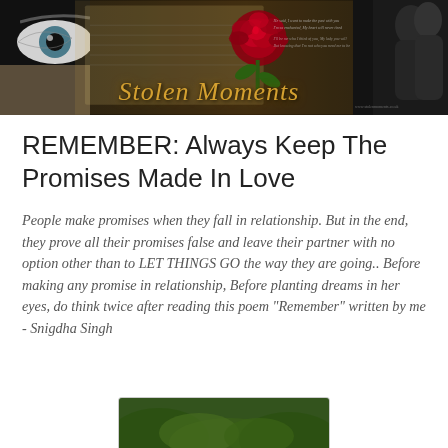[Figure (photo): Blog header banner for 'Stolen Moments' featuring a close-up of a woman's eye on the left, a red rose over a handwritten letter in the center, decorative script text reading 'Stolen Moments' in gold, and a couple embracing on the right, all on a dark background.]
REMEMBER: Always Keep The Promises Made In Love
People make promises when they fall in relationship. But in the end, they prove all their promises false and leave their partner with no option other than to LET THINGS GO the way they are going.. Before making any promise in relationship, Before planting dreams in her eyes, do think twice after reading this poem "Remember" written by me - Snigdha Singh
[Figure (photo): Partial bottom image strip showing what appears to be a green outdoor scene, partially visible at the bottom of the page.]